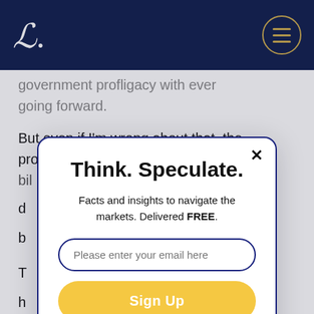L.
government profligacy with ever going forward.
But even if I'm wrong about that, the problem with printing money to pay bills is that it d...
[Figure (screenshot): Email signup modal overlay with title 'Think. Speculate.', subtitle 'Facts and insights to navigate the markets. Delivered FREE.', email input field, and yellow Sign Up button]